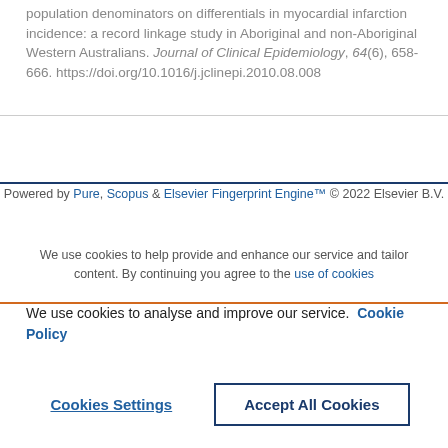population denominators on differentials in myocardial infarction incidence: a record linkage study in Aboriginal and non-Aboriginal Western Australians. Journal of Clinical Epidemiology, 64(6), 658-666. https://doi.org/10.1016/j.jclinepi.2010.08.008
Powered by Pure, Scopus & Elsevier Fingerprint Engine™ © 2022 Elsevier B.V.
We use cookies to help provide and enhance our service and tailor content. By continuing you agree to the use of cookies
We use cookies to analyse and improve our service. Cookie Policy
Cookies Settings
Accept All Cookies